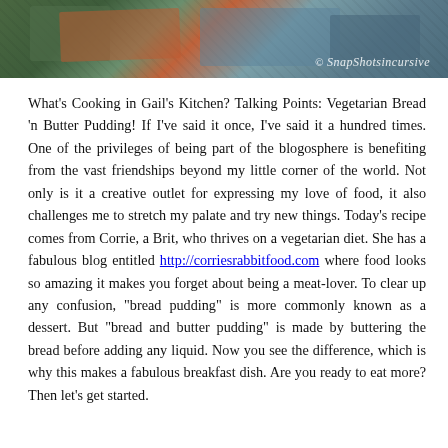[Figure (photo): Cropped food/cooking photograph at top of page with watermark 'SnapShotsincursive' in script font]
What's Cooking in Gail's Kitchen? Talking Points: Vegetarian Bread 'n Butter Pudding! If I've said it once, I've said it a hundred times. One of the privileges of being part of the blogosphere is benefiting from the vast friendships beyond my little corner of the world. Not only is it a creative outlet for expressing my love of food, it also challenges me to stretch my palate and try new things. Today's recipe comes from Corrie, a Brit, who thrives on a vegetarian diet. She has a fabulous blog entitled http://corriesrabbitfood.com where food looks so amazing it makes you forget about being a meat-lover. To clear up any confusion, "bread pudding" is more commonly known as a dessert. But "bread and butter pudding" is made by buttering the bread before adding any liquid. Now you see the difference, which is why this makes a fabulous breakfast dish. Are you ready to eat more? Then let's get started.